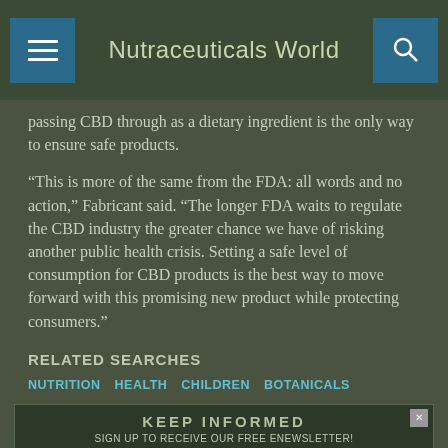Nutraceuticals World
passing CBD through as a dietary ingredient is the only way to ensure safe products.
“This is more of the same from the FDA: all words and no action,” Fabricant said. “The longer FDA waits to regulate the CBD industry the greater chance we have of risking another public health crisis. Setting a safe level of consumption for CBD products is the best way to move forward with this promising new product while protecting consumers.”
RELATED SEARCHES
NUTRITION
HEALTH
CHILDREN
BOTANICALS
[Figure (infographic): Advertisement banner: KEEP INFORMED - SIGN UP TO RECEIVE OUR FREE ENEWSLETTER! NUTRACEUTICALS WORLD MAGAZINE]